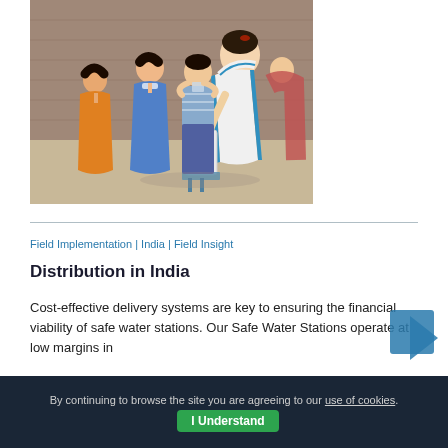[Figure (photo): A woman in a white sari with blue border pours water from a container for children — a boy and two girls — in what appears to be a rural Indian setting with a brick wall in the background. The scene depicts water distribution.]
Field Implementation | India | Field Insight
Distribution in India
Cost-effective delivery systems are key to ensuring the financial viability of safe water stations. Our Safe Water Stations operate at low margins in
By continuing to browse the site you are agreeing to our use of cookies. I Understand